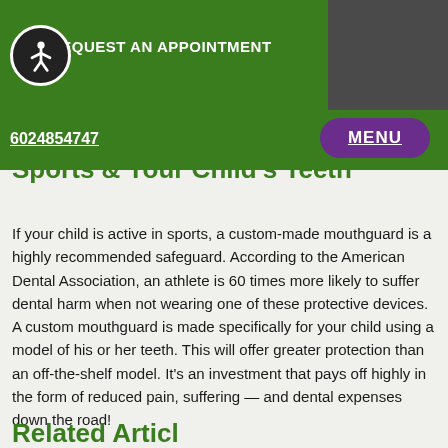REQUEST AN APPOINTMENT
6024854747
MENU
Sports & Your Child's Teeth
If your child is active in sports, a custom-made mouthguard is a highly recommended safeguard. According to the American Dental Association, an athlete is 60 times more likely to suffer dental harm when not wearing one of these protective devices. A custom mouthguard is made specifically for your child using a model of his or her teeth. This will offer greater protection than an off-the-shelf model. It's an investment that pays off highly in the form of reduced pain, suffering — and dental expenses down the road!
Related Articles